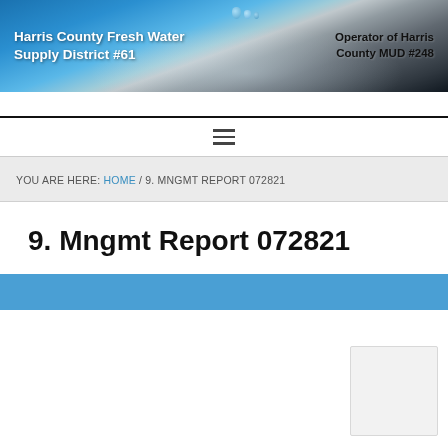Harris County Fresh Water Supply District #61 | Operator of Harris County MUD #248
YOU ARE HERE: HOME / 9. MNGMT REPORT 072821
9. Mngmt Report 072821